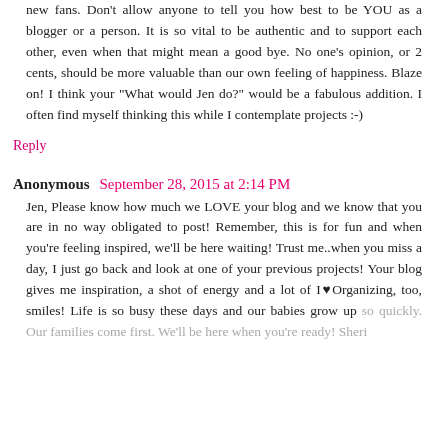new fans. Don't allow anyone to tell you how best to be YOU as a blogger or a person. It is so vital to be authentic and to support each other, even when that might mean a good bye. No one's opinion, or 2 cents, should be more valuable than our own feeling of happiness. Blaze on! I think your "What would Jen do?" would be a fabulous addition. I often find myself thinking this while I contemplate projects :-)
Reply
Anonymous September 28, 2015 at 2:14 PM
Jen, Please know how much we LOVE your blog and we know that you are in no way obligated to post! Remember, this is for fun and when you're feeling inspired, we'll be here waiting! Trust me..when you miss a day, I just go back and look at one of your previous projects! Your blog gives me inspiration, a shot of energy and a lot of I♥Organizing, too, smiles! Life is so busy these days and our babies grow up so quickly. Our families come first. We'll be here when you're ready! Sheri